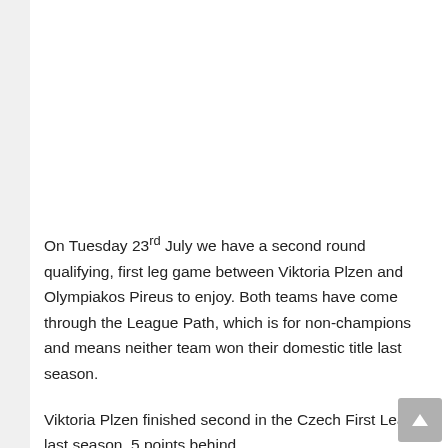On Tuesday 23rd July we have a second round qualifying, first leg game between Viktoria Plzen and Olympiakos Pireus to enjoy. Both teams have come through the League Path, which is for non-champions and means neither team won their domestic title last season.
Viktoria Plzen finished second in the Czech First League last season, 5 points behind